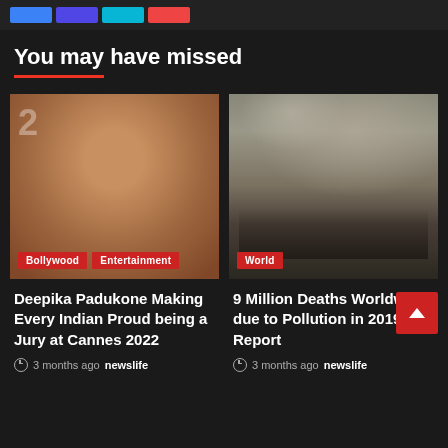[Figure (other): Top navigation bar with colored buttons (blue, indigo, cyan, red)]
You may have missed
[Figure (photo): Photo of Deepika Padukone at Cannes 2022, with tags Bollywood and Entertainment]
[Figure (photo): Photo of industrial pollution with smoke clouds, with tag World]
Deepika Padukone Making Every Indian Proud being a Jury at Cannes 2022
3 months ago  newslife
9 Million Deaths Worldwide due to Pollution in 2019: Report
3 months ago  newslife